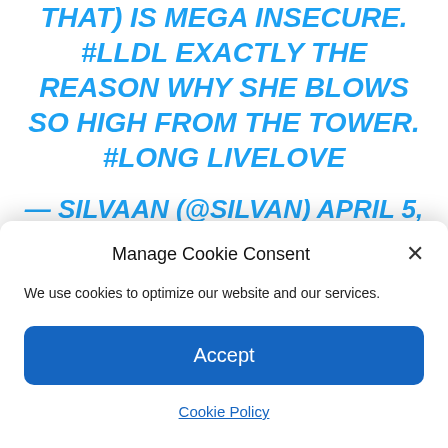THAT) IS MEGA INSECURE. #LLDL EXACTLY THE REASON WHY SHE BLOWS SO HIGH FROM THE TOWER. #LONG LIVELOVE
— SILVAAN (@SILVAN) APRIL 5, 2022
OH SHE IS SO CONFIDENT! THAT SHE FINDS THIS NECESSARY
Manage Cookie Consent
We use cookies to optimize our website and our services.
Accept
Cookie Policy